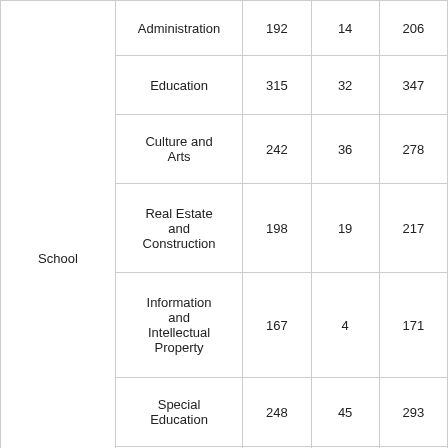| School | Major | Col A | Col B | Total |
| --- | --- | --- | --- | --- |
| School | Administration | 192 | 14 | 206 |
|  | Education | 315 | 32 | 347 |
|  | Culture and Arts | 242 | 36 | 278 |
|  | Real Estate and Construction | 198 | 19 | 217 |
|  | Information and Intellectual Property | 167 | 4 | 171 |
|  | Special Education | 248 | 45 | 293 |
|  | Public Administration and Law | 311 | 20 | 331 |